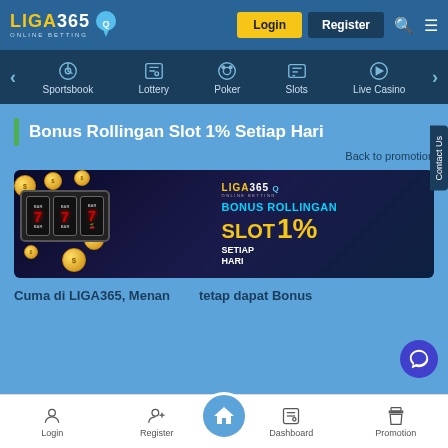[Figure (screenshot): LIGA365 online betting website header with logo, Login button (yellow), Register button (dark blue), search icon, and menu icon]
[Figure (screenshot): Navigation bar with Sportsbook, Lottery, Poker, Slots, Live Casino categories with icons]
Bonus Rollingan Slot 1% Setiap Hari
Back to promotion
[Figure (screenshot): LIGA365 bonus promotion banner showing slot machine with 777, gold coins, and text BONUS ROLLINGAN SLOT 1% SETIAP HARI]
Cuma di LIGA365, Menang tetap dapat Bonus
[Figure (screenshot): Bottom navigation bar with Login, Register, Home (center raised), Dashboard, Promotion icons]